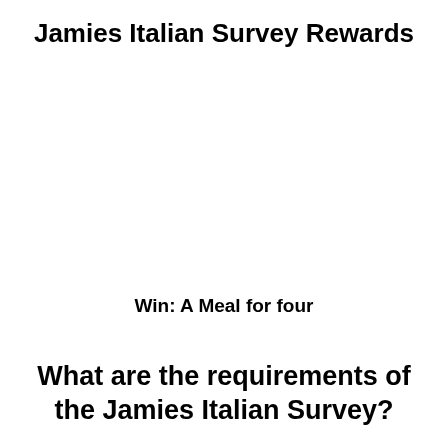Jamies Italian Survey Rewards
Win: A Meal for four
What are the requirements of the Jamies Italian Survey?